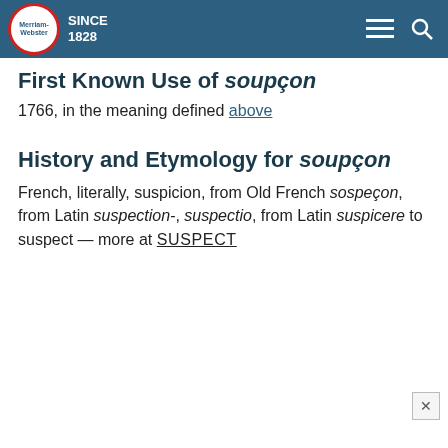Merriam-Webster SINCE 1828
First Known Use of soupçon
1766, in the meaning defined above
History and Etymology for soupçon
French, literally, suspicion, from Old French sospeçon, from Latin suspection-, suspectio, from Latin suspicere to suspect — more at SUSPECT